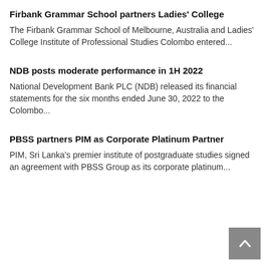Firbank Grammar School partners Ladies' College
The Firbank Grammar School of Melbourne, Australia and Ladies' College Institute of Professional Studies Colombo entered...
NDB posts moderate performance in 1H 2022
National Development Bank PLC (NDB) released its financial statements for the six months ended June 30, 2022 to the Colombo...
PBSS partners PIM as Corporate Platinum Partner
PIM, Sri Lanka's premier institute of postgraduate studies signed an agreement with PBSS Group as its corporate platinum...